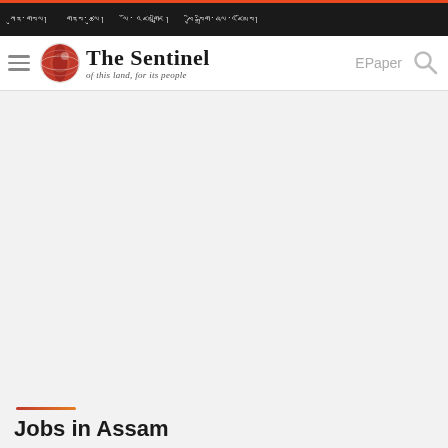ཀུན་གསལ། གནས་ཚུལ། ལོ་ འཛམགླིང། ཕྱི་སྒྲིག་ཞལ་འཛོམས།
[Figure (logo): The Sentinel newspaper logo with globe icon and tagline 'of this land, for its people'. EPaper and search icons on right.]
Jobs in Assam